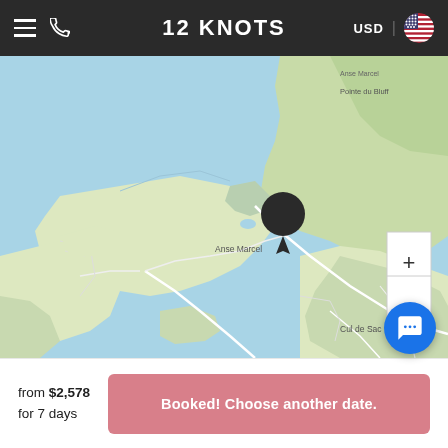12 KNOTS — USD (US flag)
[Figure (map): Map showing Anse Marcel area in Saint Martin/Sint Maarten with a black location pin marker, blue sea, and green/beige land areas. Town labels include Anse Marcel and Cul de Sac. Map has zoom + and - controls on right side.]
from $2,578
for 7 days
Booked! Choose another date.